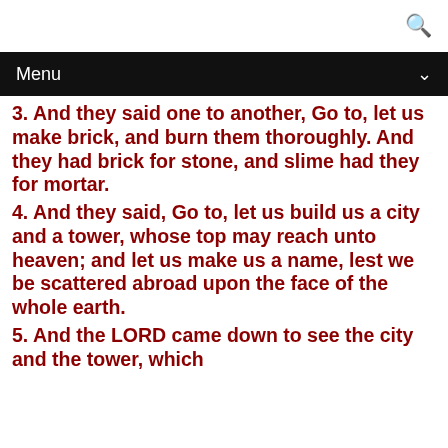🔍
Menu
3. And they said one to another, Go to, let us make brick, and burn them thoroughly. And they had brick for stone, and slime had they for mortar.
4. And they said, Go to, let us build us a city and a tower, whose top may reach unto heaven; and let us make us a name, lest we be scattered abroad upon the face of the whole earth.
5. And the LORD came down to see the city and the tower, which